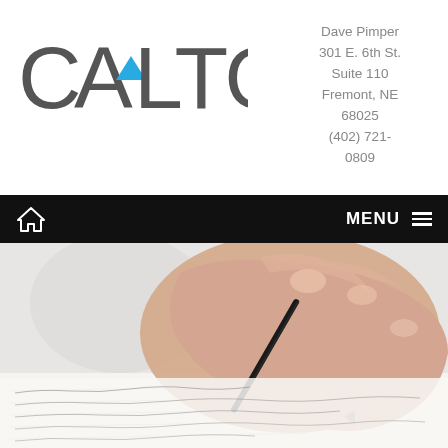[Figure (logo): CALTON company logo with stylized blue triangle in the letter A]
Dave Pimper
301 E. 6th St.
Suite 110
Fremont, NE
68025
(402) 721-0809
🏠  MENU ≡
[Figure (photo): Close-up photo of a hand holding a fountain pen signing a document with handwritten text]